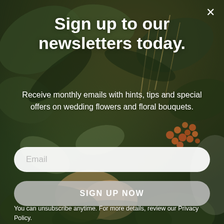[Figure (photo): Background photo of lush floral bouquet with green leaves, orange berries, wheat stalks, and cream/peach roses on a muted earthy background]
Sign up to our newsletters today.
Receive monthly emails with hints, tips and special offers on wedding flowers and floral bouquets.
Email
SIGN UP NOW
You can unsubscribe anytime. For more details, review our Privacy Policy.